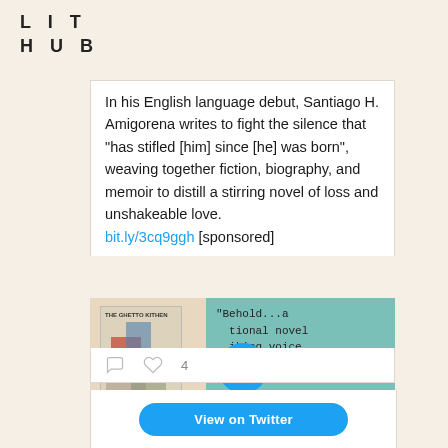LIT HUB
In his English language debut, Santiago H. Amigorena writes to fight the silence that “has stifled [him] since [he] was born”, weaving together fiction, biography, and memoir to distill a stirring novel of loss and unshakeable love. bit.ly/3cq9ggh [sponsored]
[Figure (screenshot): Video thumbnail for The Ghetto Kitchen book ad showing book cover on left and quote on teal background: "Behold...a tional novel iking voice long after the book." FIGARO, with a play button overlay and READ NOW button at bottom]
4